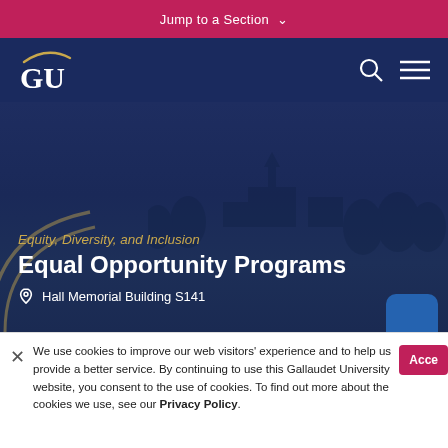Jump to a Section ∨
[Figure (logo): Gallaudet University GU logo in white on navy background with gold arc above letters]
[Figure (screenshot): Gallaudet University campus hero image with dark navy overlay showing buildings silhouette]
Equity, Diversity, and Inclusion
Equal Opportunity Programs
Hall Memorial Building S141
We use cookies to improve our web visitors' experience and to help us provide a better service. By continuing to use this Gallaudet University website, you consent to the use of cookies. To find out more about the cookies we use, see our Privacy Policy.